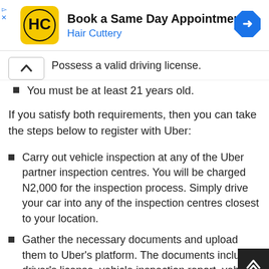[Figure (infographic): Advertisement banner: Hair Cuttery 'Book a Same Day Appointment' ad with yellow logo and blue navigation icon]
Possess a valid driving license.
You must be at least 21 years old.
If you satisfy both requirements, then you can take the steps below to register with Uber:
Carry out vehicle inspection at any of the Uber partner inspection centres. You will be charged N2,000 for the inspection process. Simply drive your car into any of the inspection centres closest to your location.
Gather the necessary documents and upload them to Uber's platform. The documents inclu driver's license, vehicle inspection report, vehicle